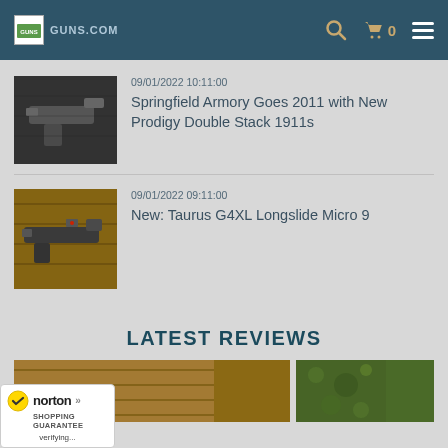Guns.com - header with logo, search, cart (0), and menu
[Figure (photo): Thumbnail photo of a 1911-style pistol on a dark textured surface]
09/01/2022 10:11:00
Springfield Armory Goes 2011 with New Prodigy Double Stack 1911s
[Figure (photo): Thumbnail photo of a compact pistol with red dot sight on wooden surface]
09/01/2022 09:11:00
New: Taurus G4XL Longslide Micro 9
LATEST REVIEWS
[Figure (photo): Review thumbnail showing wooden surface]
[Figure (photo): Review thumbnail showing green outdoor scene]
[Figure (logo): Norton Shopping Guarantee badge with checkmark, verifying...]